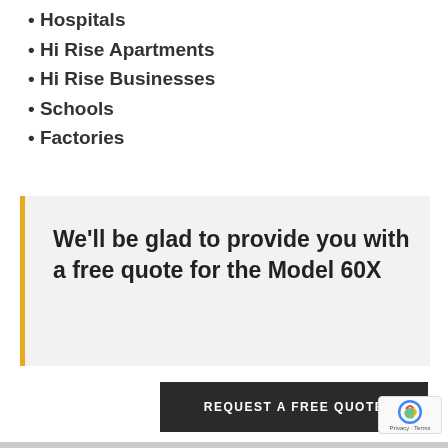• Hospitals
• Hi Rise Apartments
• Hi Rise Businesses
• Schools
• Factories
We'll be glad to provide you with a free quote for the Model 60X
REQUEST A FREE QUOTE